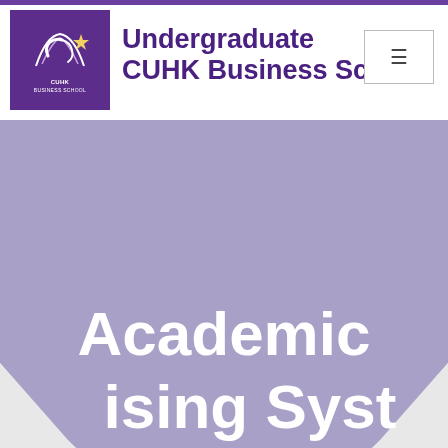Undergraduate CUHK Business School
[Figure (illustration): CUHK Business School logo — purple square with stylized wing/flame icon and CUHK BUSINESS SCHOOL text]
Academic Advising System
[Figure (illustration): Large light purple bowl/shield shape on a light grey background, containing the partially visible text 'Academic Advising System' in bold white]